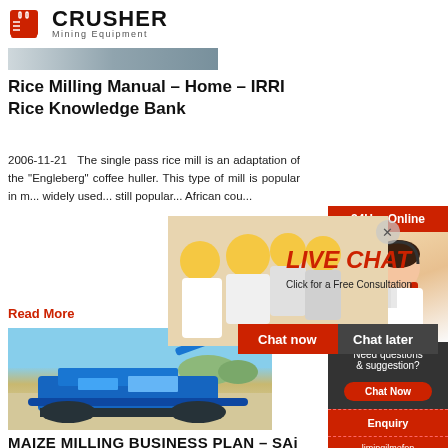CRUSHER Mining Equipment
[Figure (photo): Top partial image strip of article thumbnail]
Rice Milling Manual – Home – IRRI Rice Knowledge Bank
2006-11-21   The single pass rice mill is an adaptation of the "Engleberg" coffee huller. This type of mill is popular in m... widely used... still popular... African cou...
Read More
[Figure (photo): Blue mobile rock crusher machine on a construction/quarry site]
MAIZE MILLING BUSINESS PLAN – SAi iMyubu
[Figure (infographic): Live Chat overlay popup with workers in hard hats, LIVE CHAT heading, Click for a Free Consultation, Chat now and Chat later buttons]
[Figure (infographic): Sidebar with 24Hrs Online banner, woman with headset, Need questions & suggestion? Chat Now button, Enquiry, limingjlmofen@sina.com]